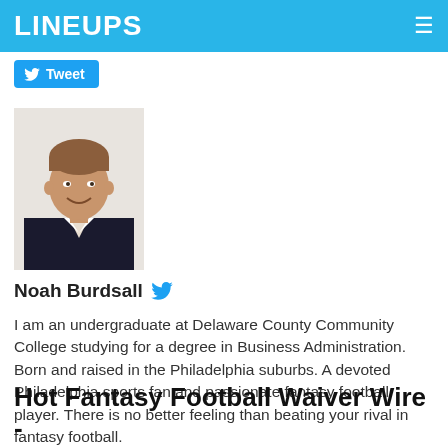LINEUPS
Tweet
[Figure (photo): Headshot photo of Noah Burdsall, a young man in a dark blazer smiling against a light background]
Noah Burdsall
I am an undergraduate at Delaware County Community College studying for a degree in Business Administration. Born and raised in the Philadelphia suburbs. A devoted Philadelphia sports fan and passionate fantasy football player. There is no better feeling than beating your rival in fantasy football.
Hot Fantasy Football Waiver Wire -